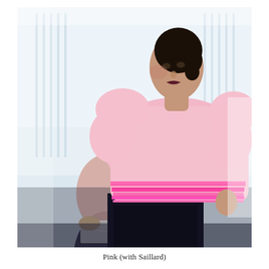[Figure (photo): A woman in the foreground wearing a pink short-sleeved blouse with pleated pink trim at the hem and black trousers, looking to her right. In the background, a man in a light pink shirt looks down at papers in his hands. The setting appears to be a bright studio or fitting room with vertical window blinds in the background.]
Pink (with Saillard)